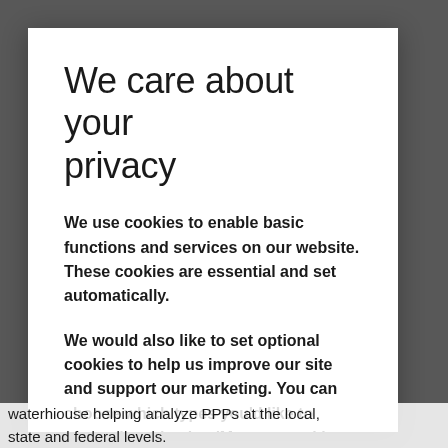We care about your privacy
We use cookies to enable basic functions and services on our website. These cookies are essential and set automatically.
We would also like to set optional cookies to help us improve our site and support our marketing. You can choose which types you'd like to accept by selecting 'Manage cookie settings'.
If you'd like to accept all optional cookies, select
waterhiouse helping analyze PPPs at the local, state and federal levels.